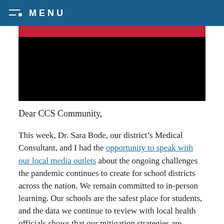MENU
[Figure (illustration): Banner image with a red strip at the top and a black rectangular area below, likely a school district header image]
Dear CCS Community,
This week, Dr. Sara Bode, our district’s Medical Consultant, and I had the opportunity to speak with our local media outlets about the ongoing challenges the pandemic continues to create for school districts across the nation. We remain committed to in-person learning. Our schools are the safest place for students, and the data we continue to review with local health officials shows that our mitigation strategies are working.